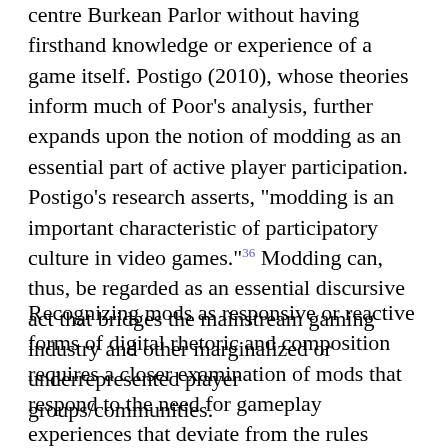centre Burkean Parlor without having firsthand knowledge or experience of a game itself. Postigo (2010), whose theories inform much of Poor's analysis, further expands upon the notion of modding as an essential part of active player participation. Postigo's research asserts, "modding is an important characteristic of participatory culture in video games."36 Modding can, thus, be regarded as an essential discursive act that bridges the mainstream gaming industry and other marginalized or underrepresented player groups/communities.
Recognizing mods as responsive or reactive forms of digital rhetoric and composition requires a closer examination of mods that respond to the need for gameplay experiences that deviate from the rules imposed on players by commercial games (e.g. Pokémon Uranium and Pokémon Korosu). Digital rhetoric and